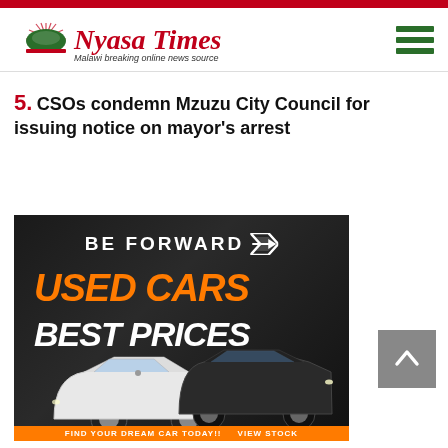Nyasa Times – Malawi breaking online news source
5. CSOs condemn Mzuzu City Council for issuing notice on mayor's arrest
[Figure (photo): BE FORWARD advertisement banner showing 'USED CARS BEST PRICES' with two cars (white Mercedes and dark SUV) on black background with orange accents. Bottom text: 'FIND YOUR DREAM CAR TODAY!! VIEW STOCK']